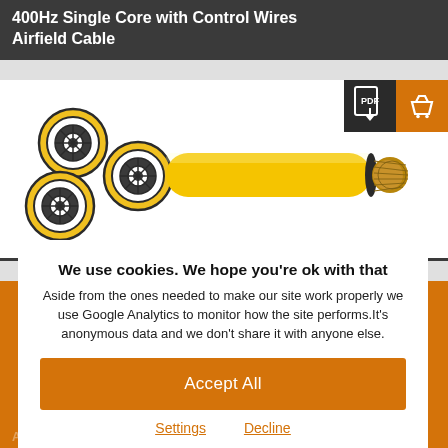400Hz Single Core with Control Wires Airfield Cable
[Figure (illustration): Cross-section and side view of a 400Hz Single Core with Control Wires Airfield Cable. Three circular cross-section views on the left showing concentric conductor rings, connected to a long yellow-jacketed cable with exposed copper strands on the right end.]
[Figure (other): PDF download icon button (dark background) and basket/cart icon button (orange background) in top-right corner of product image area.]
We use cookies. We hope you're ok with that Aside from the ones needed to make our site work properly we use Google Analytics to monitor how the site performs.It's anonymous data and we don't share it with anyone else.
Accept All
Settings
Decline